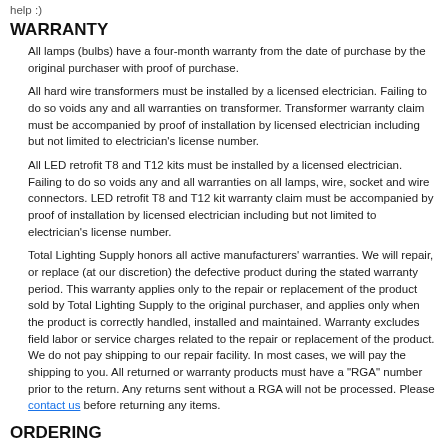help :)
WARRANTY
All lamps (bulbs) have a four-month warranty from the date of purchase by the original purchaser with proof of purchase.
All hard wire transformers must be installed by a licensed electrician. Failing to do so voids any and all warranties on transformer. Transformer warranty claim must be accompanied by proof of installation by licensed electrician including but not limited to electrician's license number.
All LED retrofit T8 and T12 kits must be installed by a licensed electrician. Failing to do so voids any and all warranties on all lamps, wire, socket and wire connectors. LED retrofit T8 and T12 kit warranty claim must be accompanied by proof of installation by licensed electrician including but not limited to electrician's license number.
Total Lighting Supply honors all active manufacturers' warranties. We will repair, or replace (at our discretion) the defective product during the stated warranty period. This warranty applies only to the repair or replacement of the product sold by Total Lighting Supply to the original purchaser, and applies only when the product is correctly handled, installed and maintained. Warranty excludes field labor or service charges related to the repair or replacement of the product. We do not pay shipping to our repair facility. In most cases, we will pay the shipping to you. All returned or warranty products must have a "RGA" number prior to the return. Any returns sent without a RGA will not be processed. Please contact us before returning any items.
ORDERING